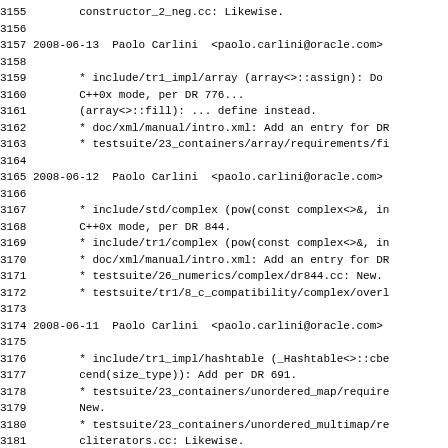3155        constructor_2_neg.cc: Likewise.
3156
3157 2008-06-13  Paolo Carlini  <paolo.carlini@oracle.com>
3158
3159        * include/tr1_impl/array (array<>::assign): Do
3160        C++0x mode, per DR 776...
3161        (array<>::fill): ... define instead.
3162        * doc/xml/manual/intro.xml: Add an entry for DR
3163        * testsuite/23_containers/array/requirements/fi
3164
3165 2008-06-12  Paolo Carlini  <paolo.carlini@oracle.com>
3166
3167        * include/std/complex (pow(const complex<>&, in
3168        C++0x mode, per DR 844.
3169        * include/tr1/complex (pow(const complex<>&, in
3170        * doc/xml/manual/intro.xml: Add an entry for DR
3171        * testsuite/26_numerics/complex/dr844.cc: New.
3172        * testsuite/tr1/8_c_compatibility/complex/overl
3173
3174 2008-06-11  Paolo Carlini  <paolo.carlini@oracle.com>
3175
3176        * include/tr1_impl/hashtable (_Hashtable<>::cbe
3177        cend(size_type)): Add per DR 691.
3178        * testsuite/23_containers/unordered_map/require
3179        New.
3180        * testsuite/23_containers/unordered_multimap/re
3181        cliterators.cc: Likewise.
3182        * testsuite/23_containers/unordered_set/require
3183        Likewise.
3184        * testsuite/23_containers/unordered_multiset/re
3185        cliterators.cc: Likewise.
3186        * doc/xml/manual/intro.xml: Add an entry for DR